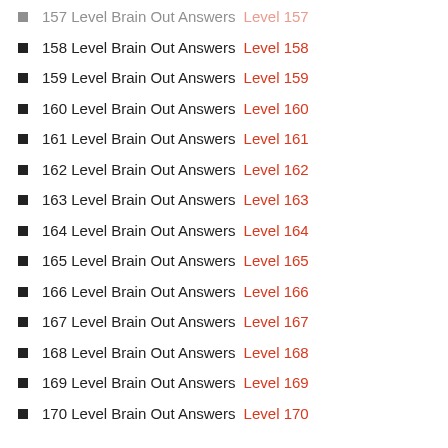157 Level Brain Out Answers Level 157
158 Level Brain Out Answers Level 158
159 Level Brain Out Answers Level 159
160 Level Brain Out Answers Level 160
161 Level Brain Out Answers Level 161
162 Level Brain Out Answers Level 162
163 Level Brain Out Answers Level 163
164 Level Brain Out Answers Level 164
165 Level Brain Out Answers Level 165
166 Level Brain Out Answers Level 166
167 Level Brain Out Answers Level 167
168 Level Brain Out Answers Level 168
169 Level Brain Out Answers Level 169
170 Level Brain Out Answers Level 170